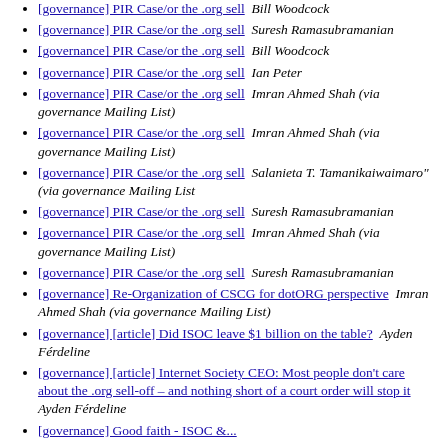[governance] PIR Case/or the .org sell  Bill Woodcock
[governance] PIR Case/or the .org sell  Suresh Ramasubramanian
[governance] PIR Case/or the .org sell  Bill Woodcock
[governance] PIR Case/or the .org sell  Ian Peter
[governance] PIR Case/or the .org sell  Imran Ahmed Shah (via governance Mailing List)
[governance] PIR Case/or the .org sell  Imran Ahmed Shah (via governance Mailing List)
[governance] PIR Case/or the .org sell  Salanieta T. Tamanikaiwaimaro" (via governance Mailing List
[governance] PIR Case/or the .org sell  Suresh Ramasubramanian
[governance] PIR Case/or the .org sell  Imran Ahmed Shah (via governance Mailing List)
[governance] PIR Case/or the .org sell  Suresh Ramasubramanian
[governance] Re-Organization of CSCG for dotORG perspective  Imran Ahmed Shah (via governance Mailing List)
[governance] [article] Did ISOC leave $1 billion on the table?  Ayden Férdeline
[governance] [article] Internet Society CEO: Most people don't care about the .org sell-off – and nothing short of a court order will stop it  Ayden Férdeline
[governance] Good faith - ISOC &...  ICE